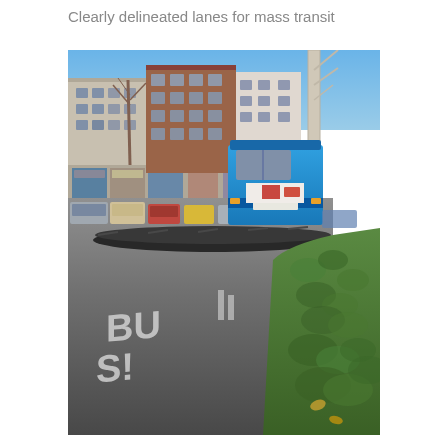Clearly delineated lanes for mass transit
[Figure (photo): Street scene showing a blue city bus driving in a clearly marked bus lane, separated from other traffic by rubber lane barriers. White 'BUS' marking painted on the road surface. Buildings and parked cars visible on the left side, green hedges on the right side, trees in background with clear blue sky.]